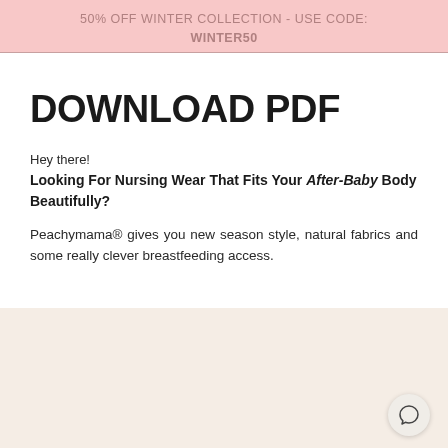50% OFF WINTER COLLECTION - USE CODE: WINTER50
DOWNLOAD PDF
Hey there!
Looking For Nursing Wear That Fits Your After-Baby Body Beautifully?
Peachymama® gives you new season style, natural fabrics and some really clever breastfeeding access.
[Figure (other): Peach/cream colored background image placeholder section at bottom of page with a circular chat bubble icon in the lower right corner]